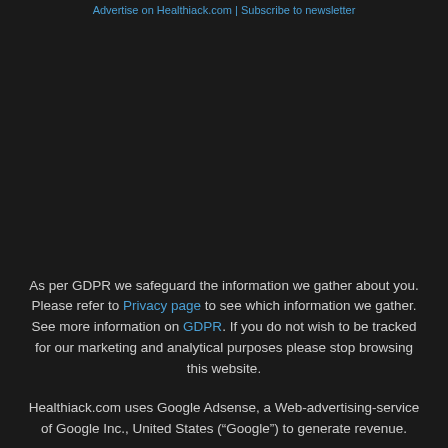Advertise on Healthiack.com | Subscribe to newsletter
As per GDPR we safeguard the information we gather about you. Please refer to Privacy page to see which information we gather. See more information on GDPR. If you do not wish to be tracked for our marketing and analytical purposes please stop browsing this website.
Healthiack.com uses Google Adsense, a Web-advertising-service of Google Inc., United States (“Google”) to generate revenue.